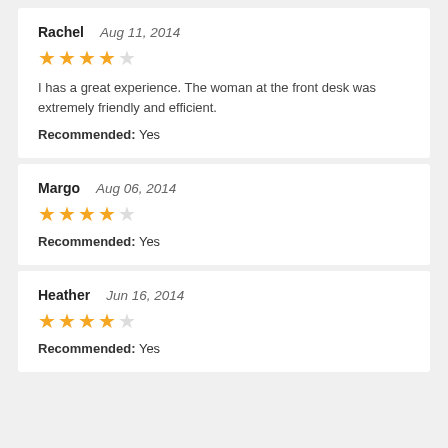Rachel   Aug 11, 2014
★★★★☆
I has a great experience. The woman at the front desk was extremely friendly and efficient.
Recommended: Yes
Margo   Aug 06, 2014
★★★★☆
Recommended: Yes
Heather   Jun 16, 2014
★★★★☆
Recommended: Yes